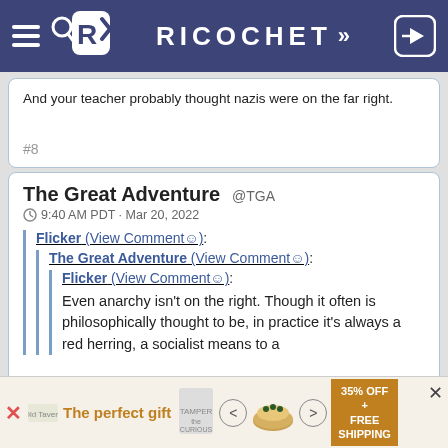RICOCHET
And your teacher probably thought nazis were on the far right.
#8
The Great Adventure @TGA
9:40 AM PDT · Mar 20, 2022
Flicker (View Comment😊):
The Great Adventure (View Comment😊):
Flicker (View Comment😊):
Even anarchy isn't on the right. Though it often is philosophically thought to be, in practice it's always a red herring, a socialist means to a